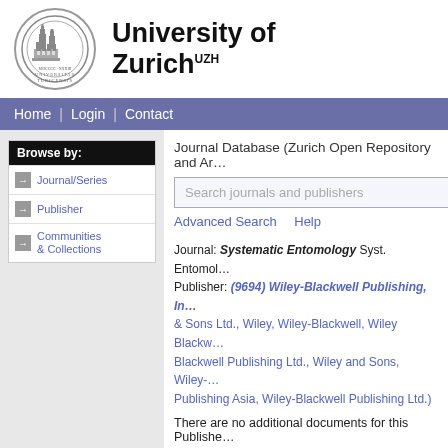[Figure (logo): University of Zurich circular seal logo]
University of Zurich UZH
Home | Login | Contact
Browse by:
Journal/Series
Publisher
Communities & Collections
Journal Database (Zurich Open Repository and Ar...
Search journals and publishers
Advanced Search   Help
Journal: Systematic Entomology Syst. Entomol.
Publisher: (9694) Wiley-Blackwell Publishing, In... & Sons Ltd., Wiley, Wiley-Blackwell, Wiley Blackw... Blackwell Publishing Ltd., Wiley and Sons, Wiley-... Publishing Asia, Wiley-Blackwell Publishing Ltd.)
There are no additional documents for this Publishe...
Item Type:  Journal/Series
Publication  Journal